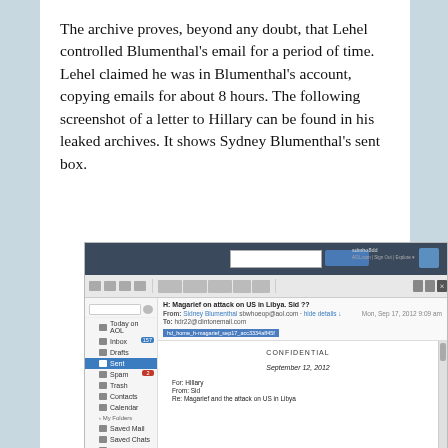The archive proves, beyond any doubt, that Lehel controlled Blumenthal's email for a period of time. Lehel claimed he was in Blumenthal's account, copying emails for about 8 hours. The following screenshot of a letter to Hillary can be found in his leaked archives. It shows Sydney Blumenthal's sent box.
[Figure (screenshot): Screenshot of an AOL email interface showing Sydney Blumenthal's Sent box. The email subject reads 'H: Magarief on attack on US in Libya. Sid ??' from Sidney Blumenthal (sbwhoeop@aol.com). The email body shows a letter marked CONFIDENTIAL, dated September 12, 2012, For: Hillary, From: Sid, Re: Magarief and the attack on US in Libya.]